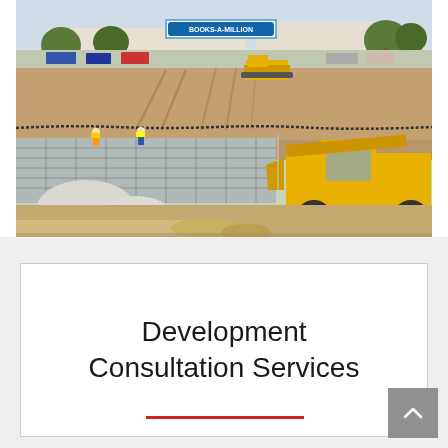[Figure (photo): Construction site photo showing earthmoving with a large yellow front loader/wheel loader on the right side, a bulldozer visible on a dirt mound in the background, concrete retaining wall formwork in the center-left, workers in hard hats, large white boulders/rocks in the foreground left, a Books-A-Million sign visible in the background, trees, and parked cars in a commercial shopping area.]
Development Consultation Services